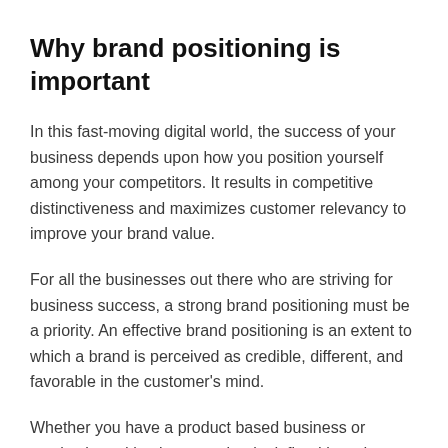Why brand positioning is important
In this fast-moving digital world, the success of your business depends upon how you position yourself among your competitors. It results in competitive distinctiveness and maximizes customer relevancy to improve your brand value.
For all the businesses out there who are striving for business success, a strong brand positioning must be a priority. An effective brand positioning is an extent to which a brand is perceived as credible, different, and favorable in the customer's mind.
Whether you have a product based business or service based business, a clearly defined brand positioning will provide a consistent experience for your audience. It will also help you build an authentic brand image through all your marketing